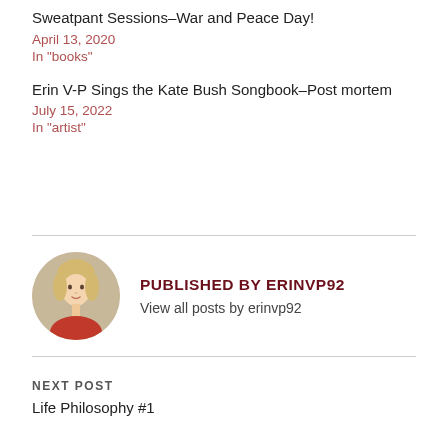Sweatpant Sessions–War and Peace Day!
April 13, 2020
In "books"
Erin V-P Sings the Kate Bush Songbook–Post mortem
July 15, 2022
In "artist"
PUBLISHED BY ERINVP92
View all posts by erinvp92
NEXT POST
Life Philosophy #1